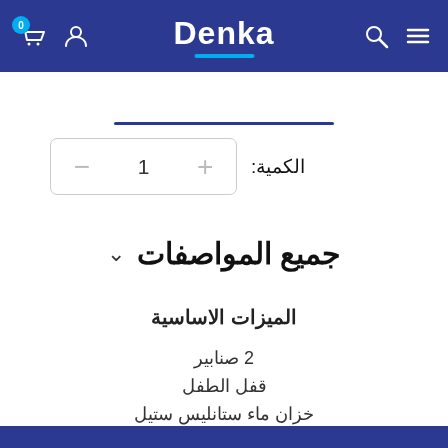Denka
الكمية: 1
جميع المواصفات
الميزات الاساسية
2 صنابير
قفل الطفل
خزان ماء ستانليس ستيل
خزانة تقليدية
تصميم ابيض